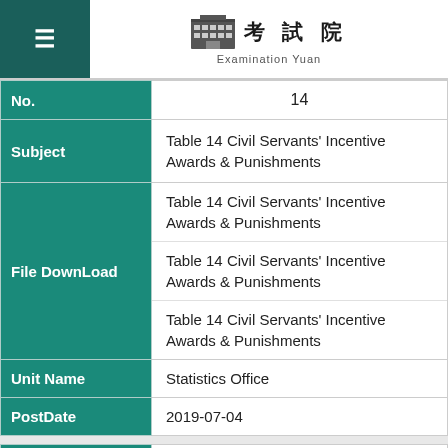Examination Yuan
| Field | Value |
| --- | --- |
| No. | 14 |
| Subject | Table 14 Civil Servants' Incentive Awards & Punishments |
| File DownLoad | Table 14 Civil Servants' Incentive Awards & Punishments
Table 14 Civil Servants' Incentive Awards & Punishments
Table 14 Civil Servants' Incentive Awards & Punishments |
| Unit Name | Statistics Office |
| PostDate | 2019-07-04 |
| Field | Value |
| --- | --- |
| No. | 15 |
| Subject | Table 15 The Supervising of PSPFSB |
| File DownLoad | Table 15 The Supervising of PSPFSB
Table 15 The Supervising of PSPFSB |